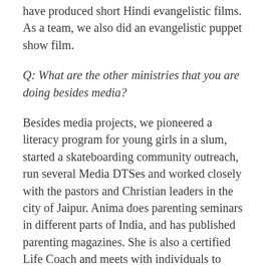have produced short Hindi evangelistic films. As a team, we also did an evangelistic puppet show film.
Q: What are the other ministries that you are doing besides media?
Besides media projects, we pioneered a literacy program for young girls in a slum, started a skateboarding community outreach, run several Media DTSes and worked closely with the pastors and Christian leaders in the city of Jaipur. Anima does parenting seminars in different parts of India, and has published parenting magazines. She is also a certified Life Coach and meets with individuals to coach them. Presently, Anima and Abhishek, our oldest son